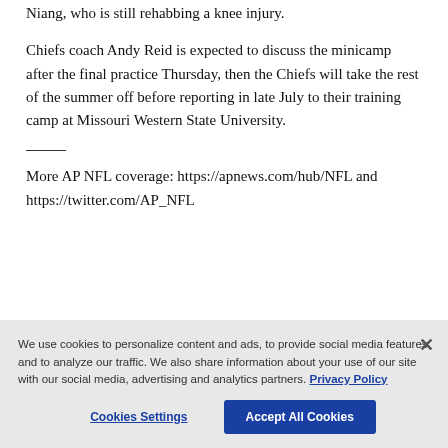Niang, who is still rehabbing a knee injury.
Chiefs coach Andy Reid is expected to discuss the minicamp after the final practice Thursday, then the Chiefs will take the rest of the summer off before reporting in late July to their training camp at Missouri Western State University.
More AP NFL coverage: https://apnews.com/hub/NFL and https://twitter.com/AP_NFL
We use cookies to personalize content and ads, to provide social media features and to analyze our traffic. We also share information about your use of our site with our social media, advertising and analytics partners. Privacy Policy
Cookies Settings
Accept All Cookies